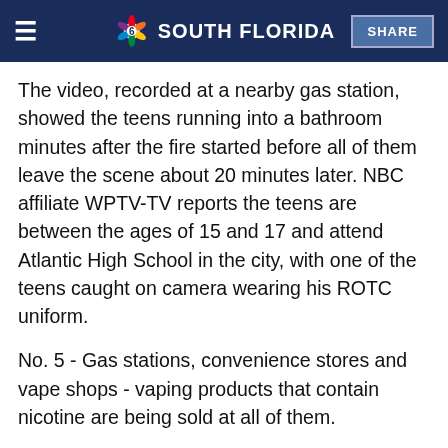NBC 6 South Florida
The video, recorded at a nearby gas station, showed the teens running into a bathroom minutes after the fire started before all of them leave the scene about 20 minutes later. NBC affiliate WPTV-TV reports the teens are between the ages of 15 and 17 and attend Atlantic High School in the city, with one of the teens caught on camera wearing his ROTC uniform.
No. 5 - Gas stations, convenience stores and vape shops - vaping products that contain nicotine are being sold at all of them.
But in Florida, you have to be at least 18 to buy these vaping products. State lawmakers are considering raising the age limit to 21 to match federal law. When the NBC 6